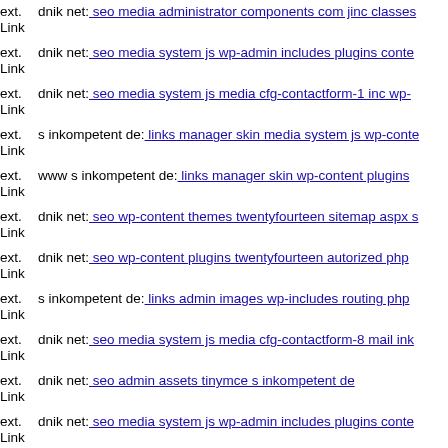ext. Link dnik net: seo media administrator components com jinc classes
ext. Link dnik net: seo media system js wp-admin includes plugins conte
ext. Link dnik net: seo media system js media cfg-contactform-1 inc wp-
ext. Link s inkompetent de: links manager skin media system js wp-conte
ext. Link www s inkompetent de: links manager skin wp-content plugins
ext. Link dnik net: seo wp-content themes twentyfourteen sitemap aspx s
ext. Link dnik net: seo wp-content plugins twentyfourteen autorized php
ext. Link s inkompetent de: links admin images wp-includes routing php
ext. Link dnik net: seo media system js media cfg-contactform-8 mail ink
ext. Link dnik net: seo admin assets tinymce s inkompetent de
ext. Link dnik net: seo media system js wp-admin includes plugins conte
ext.